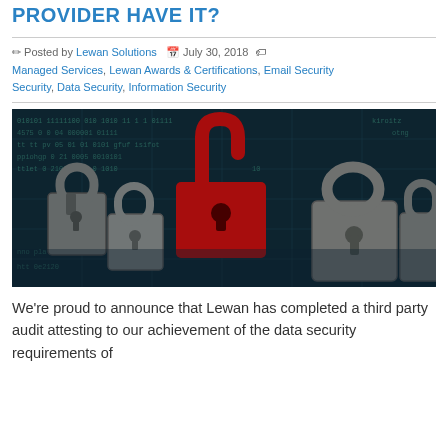PROVIDER HAVE IT?
Posted by Lewan Solutions  July 30, 2018  Managed Services, Lewan Awards & Certifications, Email Security, Data Security, Information Security
[Figure (photo): Photo of padlocks on a dark digital background with binary code, featuring one red open padlock among grey padlocks, symbolizing data security vulnerability.]
We're proud to announce that Lewan has completed a third party audit attesting to our achievement of the data security requirements of